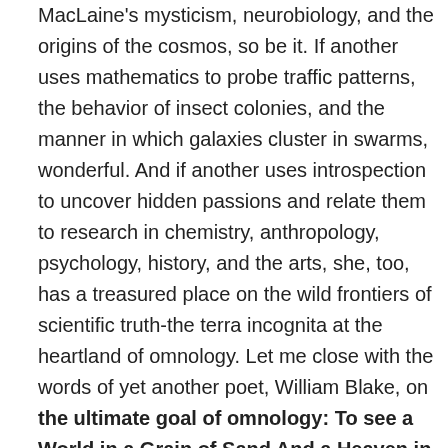MacLaine's mysticism, neurobiology, and the origins of the cosmos, so be it. If another uses mathematics to probe traffic patterns, the behavior of insect colonies, and the manner in which galaxies cluster in swarms, wonderful. And if another uses introspection to uncover hidden passions and relate them to research in chemistry, anthropology, psychology, history, and the arts, she, too, has a treasured place on the wild frontiers of scientific truth-the terra incognita at the heartland of omnology. Let me close with the words of yet another poet, William Blake, on the ultimate goal of omnology: To see a World in a Grain of Sand And a Heaven in a Wild Flower, Hold Infinity in the palm of your hand And Eternity in an hour.
Purists might object to the term's mixed etimology, but alas Cosmology and Ecumenology were already taken.